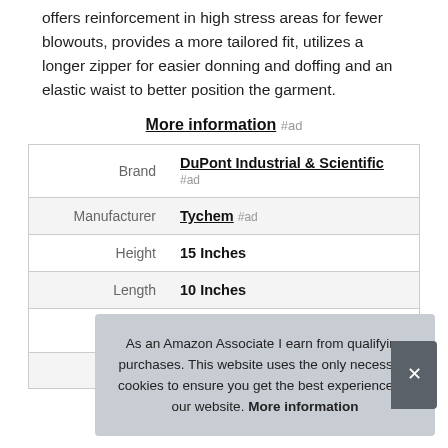offers reinforcement in high stress areas for fewer blowouts, provides a more tailored fit, utilizes a longer zipper for easier donning and doffing and an elastic waist to better position the garment.
More information #ad
| Brand | DuPont Industrial & Scientific #ad |
| Manufacturer | Tychem #ad |
| Height | 15 Inches |
| Length | 10 Inches |
| P |  |
| Model | TT1223-M_A |
As an Amazon Associate I earn from qualifying purchases. This website uses the only necessary cookies to ensure you get the best experience on our website. More information